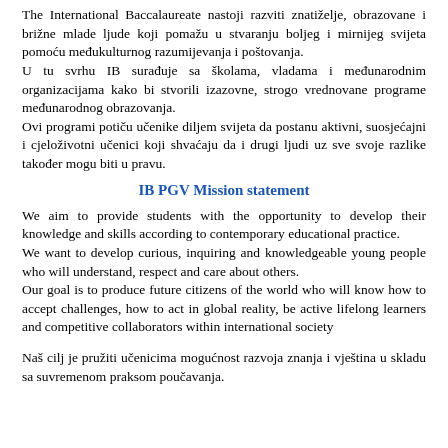The International Baccalaureate nastoji razviti znatiželje, obrazovane i brižne mlade ljude koji pomažu u stvaranju boljeg i mirnijeg svijeta pomoću međukulturnog razumijevanja i poštovanja. U tu svrhu IB surađuje sa školama, vladama i međunarodnim organizacijama kako bi stvorili izazovne, strogo vrednovane programe međunarodnog obrazovanja. Ovi programi potiču učenike diljem svijeta da postanu aktivni, suosjećajni i cjeloživotni učenici koji shvaćaju da i drugi ljudi uz sve svoje razlike također mogu biti u pravu.
IB PGV Mission statement
We aim to provide students with the opportunity to develop their knowledge and skills according to contemporary educational practice. We want to develop curious, inquiring and knowledgeable young people who will understand, respect and care about others. Our goal is to produce future citizens of the world who will know how to accept challenges, how to act in global reality, be active lifelong learners and competitive collaborators within international society
Naš cilj je pružiti učenicima mogućnost razvoja znanja i vještina u skladu sa suvremenom praksom poučavanja.